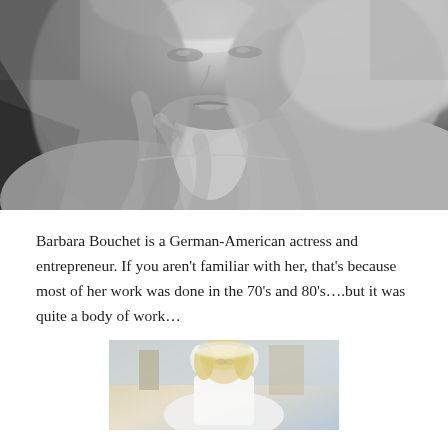[Figure (photo): Black and white close-up portrait photograph of a woman with long blonde wavy hair, looking toward the camera, showing face, neck and bare shoulders. Classic glamour photography style.]
Barbara Bouchet is a German-American actress and entrepreneur. If you aren't familiar with her, that's because most of her work was done in the 70's and 80's….but it was quite a body of work…
[Figure (photo): Partial color photograph of a blonde woman wearing a white outfit and what appears to be a decorative headpiece, photographed outdoors with architectural elements in the background.]